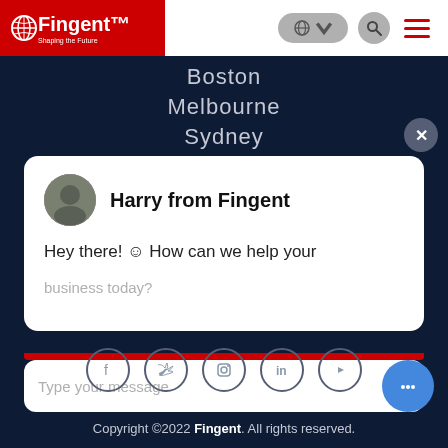[Figure (screenshot): Website navbar with Fingent logo on red background, globe/language selector, search icon, and hamburger menu]
Boston
Melbourne
Sydney
[Figure (screenshot): Chat popup card with avatar of Harry from Fingent and message: Hey there! ☺ How can we help your business today?]
[Figure (screenshot): Chat input box with placeholder text 'Type your message' and send arrow button]
[Figure (screenshot): Social media icon row: Facebook, Twitter, Instagram, LinkedIn, YouTube]
Copyright ©2022 Fingent. All rights reserved.